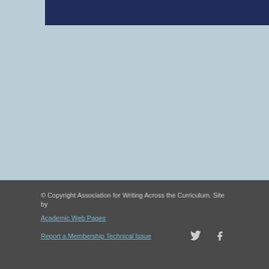Support AWAC
© Copyright Association for Writing Across the Curriculum. Site by Academic Web Pages
Report a Membership Technical Issue